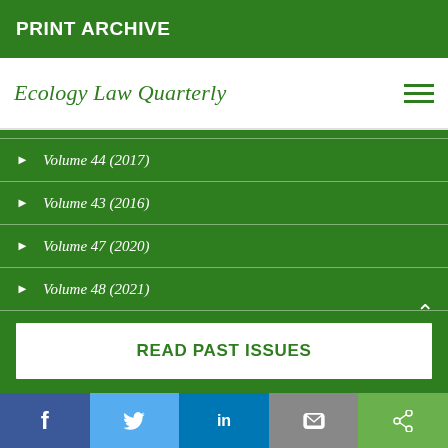PRINT ARCHIVE
Ecology Law Quarterly
Volume 44 (2017)
Volume 43 (2016)
Volume 47 (2020)
Volume 48 (2021)
READ PAST ISSUES
f  Twitter  in  Email  Share